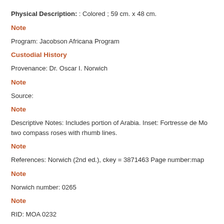Physical Description: : Colored ; 59 cm. x 48 cm.
Note
Program: Jacobson Africana Program
Custodial History
Provenance: Dr. Oscar I. Norwich
Note
Source:
Note
Descriptive Notes: Includes portion of Arabia. Inset: Fortresse de Mo... two compass roses with rhumb lines.
Note
References: Norwich (2nd ed.), ckey = 3871463 Page number:map
Note
Norwich number: 0265
Note
RID: MOA 0232
Subjects and Indexing Terms